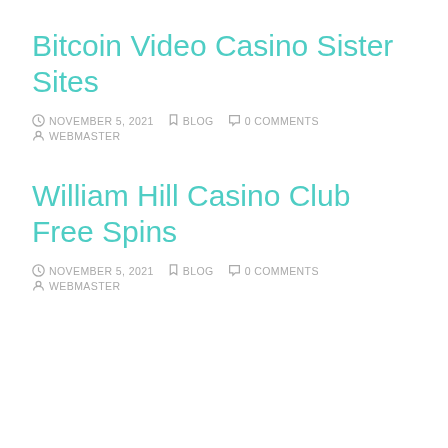Bitcoin Video Casino Sister Sites
NOVEMBER 5, 2021  BLOG  0 COMMENTS  WEBMASTER
William Hill Casino Club Free Spins
NOVEMBER 5, 2021  BLOG  0 COMMENTS  WEBMASTER